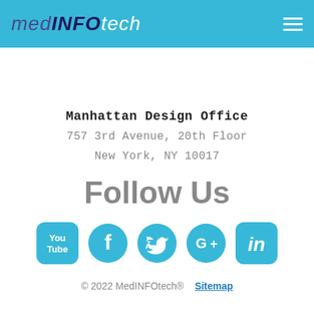medINFOtech
[Figure (illustration): Blue map pin / location marker icon centered below the header bar]
Manhattan Design Office
757 3rd Avenue, 20th Floor
New York, NY 10017
Follow Us
[Figure (illustration): Five social media icons in a row: YouTube, Facebook, Twitter, Google+, LinkedIn — all in blue circular/rounded-square style]
© 2022 MedINFOtech®   Sitemap